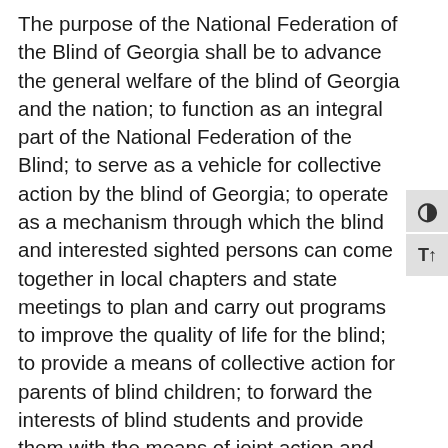The purpose of the National Federation of the Blind of Georgia shall be to advance the general welfare of the blind of Georgia and the nation; to function as an integral part of the National Federation of the Blind; to serve as a vehicle for collective action by the blind of Georgia; to operate as a mechanism through which the blind and interested sighted persons can come together in local chapters and state meetings to plan and carry out programs to improve the quality of life for the blind; to provide a means of collective action for parents of blind children; to forward the interests of blind students and provide them with the means of joint action and expression; to promote the vocational, cultural and social advancement of the blind; to achieve the integration of the blind into society on a basis of equality with the sited; and to take any other